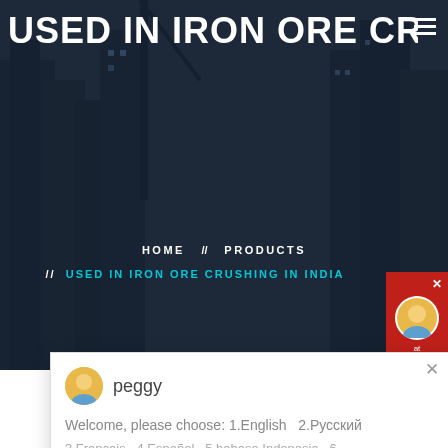[Figure (screenshot): Website screenshot showing a header with dark overlay on city/construction background. Navigation breadcrumb shows HOME // PRODUCTS // USED IN IRON ORE CRUSHING IN INDIA in white and cyan text. A chat popup from 'peggy' appears with welcome message in multiple languages.]
USED IN IRON ORE CRUSHING I…
HOME // PRODUCTS
// USED IN IRON ORE CRUSHING IN INDIA
peggy
Welcome, please choose: 1.English  2.Русский
3.Francais  4.Español  5.bahasa Indonesia  6…
Latest Projects
[Figure (photo): Industrial crushing/mining machinery photograph, showing large metal structures inside a facility]